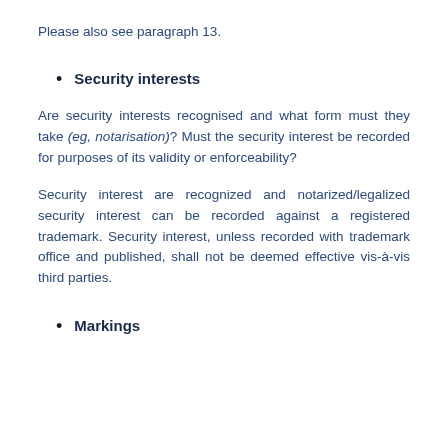Please also see paragraph 13.
Security interests
Are security interests recognised and what form must they take (eg, notarisation)? Must the security interest be recorded for purposes of its validity or enforceability?
Security interest are recognized and notarized/legalized security interest can be recorded against a registered trademark. Security interest, unless recorded with trademark office and published, shall not be deemed effective vis-à-vis third parties.
Markings